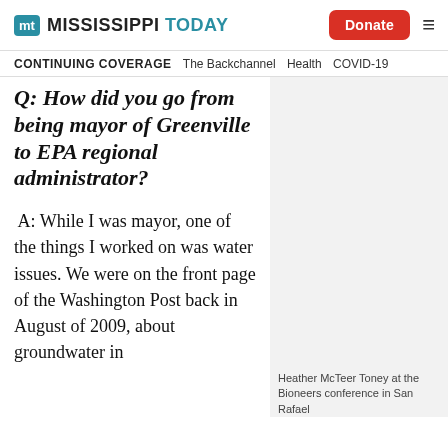Mississippi Today | Donate | Menu
CONTINUING COVERAGE   The Backchannel   Health   COVID-19
Q: How did you go from being mayor of Greenville to EPA regional administrator?
A: While I was mayor, one of the things I worked on was water issues. We were on the front page of the Washington Post back in August of 2009, about groundwater in
Heather McTeer Toney at the Bioneers conference in San Rafael